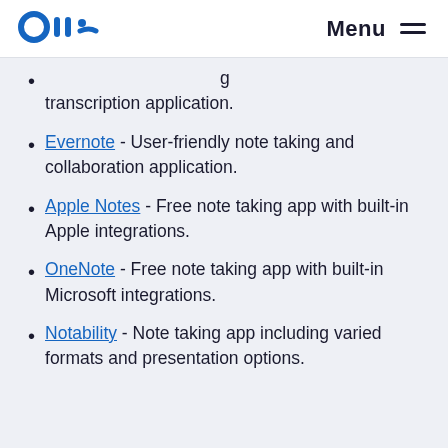Otter.ai logo | Menu
[partial link] - ...transcription application.
Evernote - User-friendly note taking and collaboration application.
Apple Notes - Free note taking app with built-in Apple integrations.
OneNote - Free note taking app with built-in Microsoft integrations.
Notability - Note taking app including varied formats and presentation options.